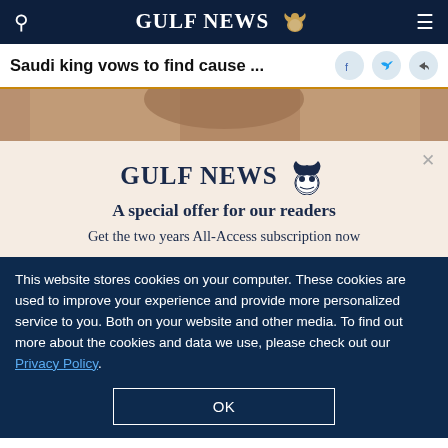GULF NEWS
Saudi king vows to find cause ...
[Figure (photo): Partial photo showing a person, cropped image strip]
GULF NEWS
A special offer for our readers
Get the two years All-Access subscription now
This website stores cookies on your computer. These cookies are used to improve your experience and provide more personalized service to you. Both on your website and other media. To find out more about the cookies and data we use, please check out our Privacy Policy.
OK